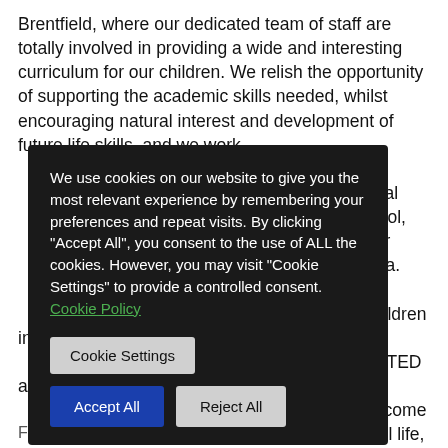Brentfield, where our dedicated team of staff are totally involved in providing a wide and interesting curriculum for our children. We relish the opportunity of supporting the academic skills needed, whilst encouraging natural interest and development of future life skills, and we work … children on … ultural … school, … n our … t area. … 0 children in … OFSTED at … s to come … chool life, so … ng Brentfield, … and see us.
We use cookies on our website to give you the most relevant experience by remembering your preferences and repeat visits. By clicking "Accept All", you consent to the use of ALL the cookies. However, you may visit "Cookie Settings" to provide a controlled consent. Cookie Policy
Financial information for Brentfield Primary…